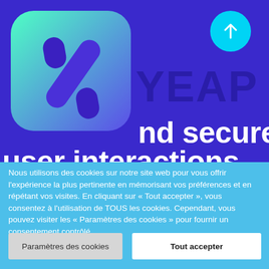[Figure (screenshot): Purple background with YEAP app icon (gradient green-to-purple with percent/slash symbol), YEAP text watermark, cyan circle with up arrow, partial white bold text 'nd secures user interactions']
Nous utilisons des cookies sur notre site web pour vous offrir l'expérience la plus pertinente en mémorisant vos préférences et en répétant vos visites. En cliquant sur « Tout accepter », vous consentez à l'utilisation de TOUS les cookies. Cependant, vous pouvez visiter les « Paramètres des cookies » pour fournir un consentement contrôlé.
Paramètres des cookies
Tout accepter